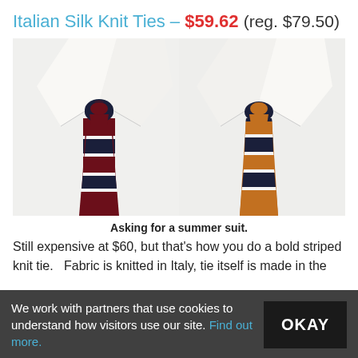Italian Silk Knit Ties – $59.62 (reg. $79.50)
[Figure (photo): Two Italian silk knit ties displayed on white dress shirts — left tie is dark navy and burgundy/maroon striped, right tie is dark navy and orange/amber striped, both with white stripe accents]
Asking for a summer suit.
Still expensive at $60, but that's how you do a bold striped knit tie.   Fabric is knitted in Italy, tie itself is made in the USA.  Top of the line...
We work with partners that use cookies to understand how visitors use our site. Find out more.